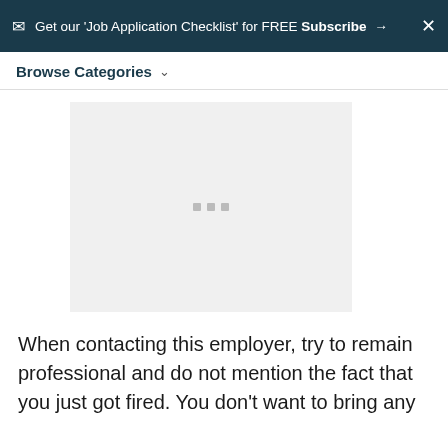Get our 'Job Application Checklist' for FREE Subscribe → ×
Browse Categories
[Figure (other): Advertisement placeholder with three gray dots]
When contacting this employer, try to remain professional and do not mention the fact that you just got fired. You don't want to bring any